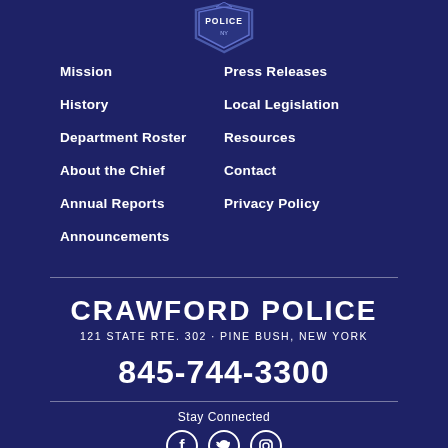[Figure (logo): Crawford Police badge/shield logo at top center]
Mission
Press Releases
History
Local Legislation
Department Roster
Resources
About the Chief
Contact
Annual Reports
Privacy Policy
Announcements
CRAWFORD POLICE
121 STATE RTE. 302 · PINE BUSH, NEW YORK
845-744-3300
Stay Connected
[Figure (illustration): Social media icons: Facebook, Twitter, Instagram]
©2022 TOWN OF CRAWFORD POLICE DEPARTMENT
SITE DESIGN BY THE NIKI JONES AGENCY